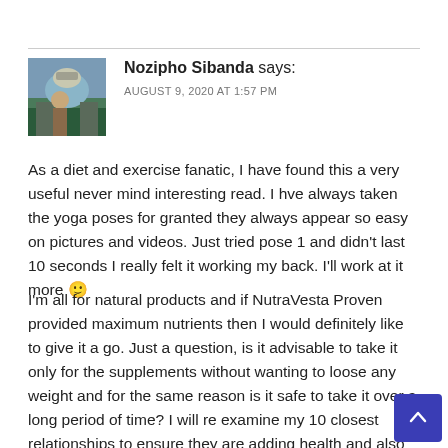[Figure (photo): Avatar photo of Nozipho Sibanda — person outdoors near water]
Nozipho Sibanda says:
AUGUST 9, 2020 AT 1:57 PM
As a diet and exercise fanatic, I have found this a very useful never mind interesting read. I hve always taken the yoga poses for granted they always appear so easy on pictures and videos. Just tried pose 1 and didn't last 10 seconds I really felt it working my back. I'll work at it more 🙂
I'm all for natural products and if NutraVesta Proven provided maximum nutrients then I would definitely like to give it a go. Just a question, is it advisable to take it only for the supplements without wanting to loose any weight and for the same reason is it safe to take it over a long period of time? I will re examine my 10 closest relationships to ensure they are adding health and also make sure I add health to those around me! Thanks for this.